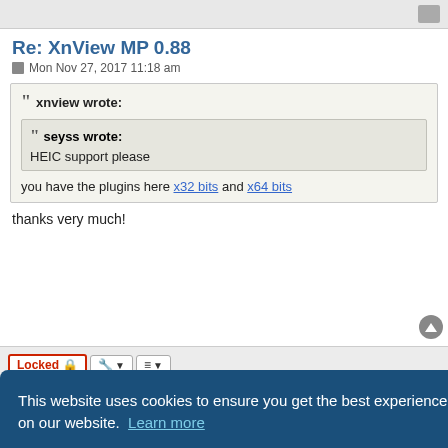Re: XnView MP 0.88
Mon Nov 27, 2017 11:18 am
xnview wrote:
seyss wrote:
HEIC support please
you have the plugins here x32 bits and x64 bits
thanks very much!
Locked
This website uses cookies to ensure you get the best experience on our website. Learn more
Got it!